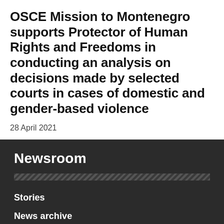OSCE Mission to Montenegro supports Protector of Human Rights and Freedoms in conducting an analysis on decisions made by selected courts in cases of domestic and gender-based violence
28 April 2021
Newsroom
Stories
News archive
Media advisories
Media contacts
OSCE Live